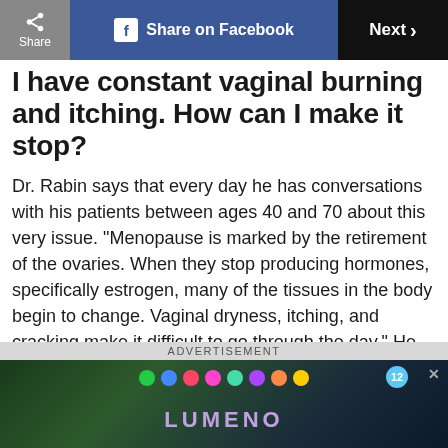Share | Share on Facebook | Next
I have constant vaginal burning and itching. How can I make it stop?
Dr. Rabin says that every day he has conversations with his patients between ages 40 and 70 about this very issue. “Menopause is marked by the retirement of the ovaries. When they stop producing hormones, specifically estrogen, many of the tissues in the body begin to change. Vaginal dryness, itching, and cracking make it difficult to go through the day.” He recommends vaginal moisturizers, local estrogen therapy, systemic
ADVERTISEMENT
[Figure (screenshot): Advertisement for LUMENO mobile game showing colorful balls on a dark forest background with a close button]